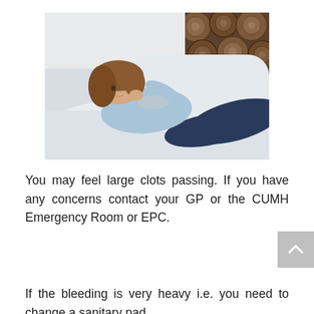[Figure (photo): A young woman with long brown hair lying on a white sofa/couch, wearing a light blue shirt and dark jeans, looking thoughtful or unwell, with stacked logs visible in the background.]
You may feel large clots passing. If you have any concerns contact your GP or the CUMH Emergency Room or EPC.
If the bleeding is very heavy i.e. you need to change a sanitary pad